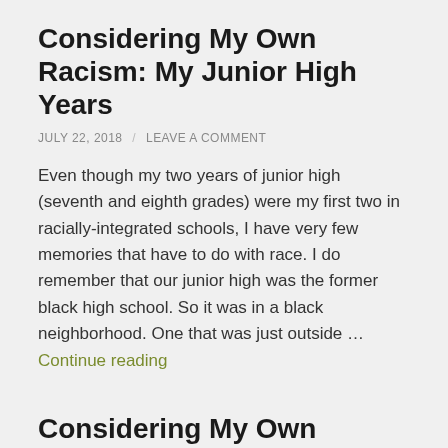Considering My Own Racism: My Junior High Years
JULY 22, 2018 / LEAVE A COMMENT
Even though my two years of junior high (seventh and eighth grades) were my first two in racially-integrated schools, I have very few memories that have to do with race. I do remember that our junior high was the former black high school. So it was in a black neighborhood. One that was just outside … Continue reading
Considering My Own Racism: My Foundation